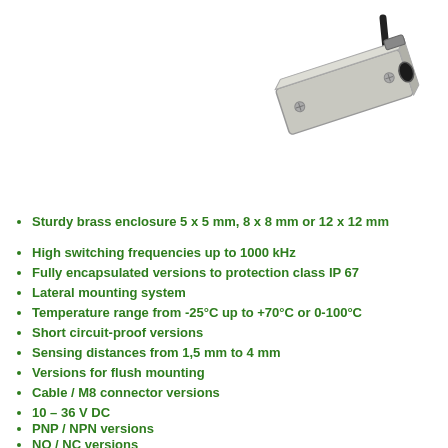[Figure (photo): Rectangular brushed metal proximity sensor with black circular sensing face on the right side, cable attached at top right corner]
Sturdy brass enclosure 5 x 5 mm, 8 x 8 mm or 12 x 12 mm
High switching frequencies up to 1000 kHz
Fully encapsulated versions to protection class IP 67
Lateral mounting system
Temperature range from -25°C up to +70°C or 0-100°C
Short circuit-proof versions
Sensing distances from 1,5 mm to 4 mm
Versions for flush mounting
Cable / M8 connector versions
10 – 36 V DC
PNP / NPN versions
NO / NC versions